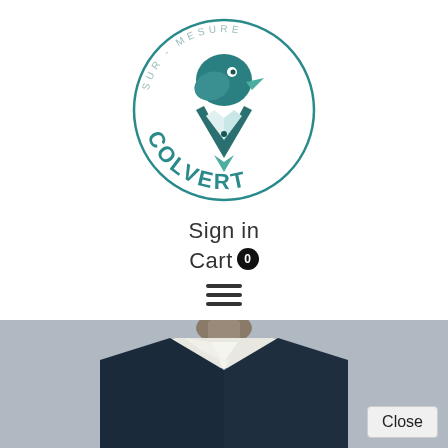[Figure (logo): Colvert Sur-Mesure logo: circular design with a mallard duck wearing a suit collar, text 'SUR-MESURE' arced at top and 'COLVERT' arced at bottom, teal/green color scheme]
Sign in
Cart 0
[Figure (other): Hamburger menu icon (three horizontal lines)]
[Figure (photo): Bottom portion of a tailor's mannequin wearing a dark navy suit with white collar/shirt, on a grey background]
Close